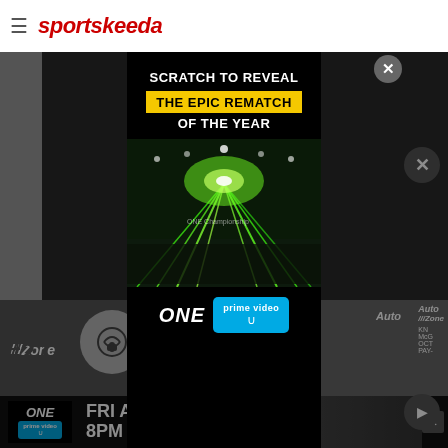sportskeeda
[Figure (screenshot): Sportskeeda website screenshot with a modal popup advertisement overlay for ONE Championship on Prime Video. The modal displays 'SCRATCH TO REVEAL THE EPIC REMATCH OF THE YEAR' with a yellow highlighted badge, an arena image with green laser lights, and ONE prime video logo at the bottom. A bottom banner ad reads 'FRI AUG 26 8PM ET' for ONE on Prime Video.]
#2 Conor Mc
FRI AUG 26 8PM ET